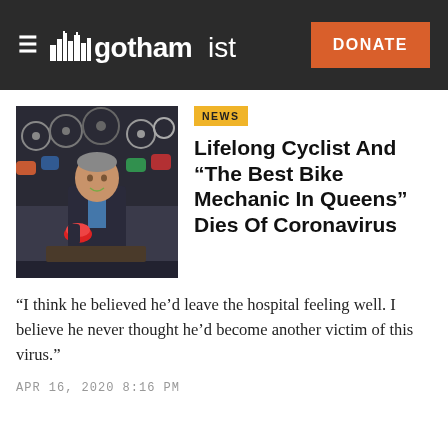gothamist — DONATE
[Figure (photo): Man standing in a bicycle shop holding a red helmet, surrounded by bikes and cycling gear on the wall behind him.]
NEWS
Lifelong Cyclist And "The Best Bike Mechanic In Queens" Dies Of Coronavirus
“I think he believed he’d leave the hospital feeling well. I believe he never thought he’d become another victim of this virus.”
APR 16, 2020 8:16 PM